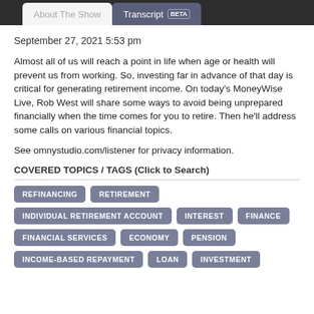About The Show | Transcript BETA
September 27, 2021 5:53 pm
Almost all of us will reach a point in life when age or health will prevent us from working. So, investing far in advance of that day is critical for generating retirement income. On today's MoneyWise Live, Rob West will share some ways to avoid being unprepared financially when the time comes for you to retire. Then he'll address some calls on various financial topics.
See omnystudio.com/listener for privacy information.
COVERED TOPICS / TAGS (Click to Search)
REFINANCING
RETIREMENT
INDIVIDUAL RETIREMENT ACCOUNT
INTEREST
FINANCE
FINANCIAL SERVICES
ECONOMY
PENSION
INCOME-BASED REPAYMENT
LOAN
INVESTMENT